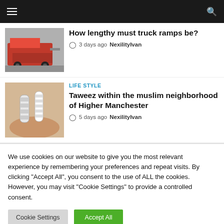Navigation bar with hamburger menu and search icon
How lengthy must truck ramps be?
3 days ago  NexilityIvan
LIFE STYLE
Taweez within the muslim neighborhood of Higher Manchester
5 days ago  NexilityIvan
We use cookies on our website to give you the most relevant experience by remembering your preferences and repeat visits. By clicking "Accept All", you consent to the use of ALL the cookies. However, you may visit "Cookie Settings" to provide a controlled consent.
Cookie Settings  Accept All